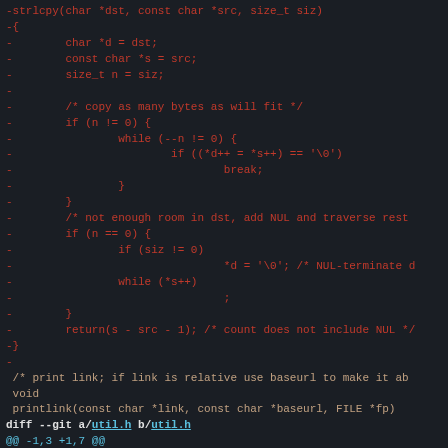[Figure (screenshot): Code diff showing removed strlcpy function implementation in C, followed by context lines for printlink function, and a diff header for util.h with added preprocessor directives]
-strlcpy(char *dst, const char *src, size_t siz)
-{
-        char *d = dst;
-        const char *s = src;
-        size_t n = siz;
-
-        /* copy as many bytes as will fit */
-        if (n != 0) {
-                while (--n != 0) {
-                        if ((*d++ = *s++) == '\0')
-                                break;
-                }
-        }
-        /* not enough room in dst, add NUL and traverse rest
-        if (n == 0) {
-                if (siz != 0)
-                                *d = '\0'; /* NUL-terminate d
-                while (*s++)
-                                ;
-        }
-        return(s - src - 1); /* count does not include NUL */
-}
-
 /* print link; if link is relative use baseurl to make it ab
 void
 printlink(const char *link, const char *baseurl, FILE *fp)
diff --git a/util.h b/util.h
@@ -1,3 +1,7 @@
+#ifdef COMPAT
+#include "compat.h"
+#endif
+